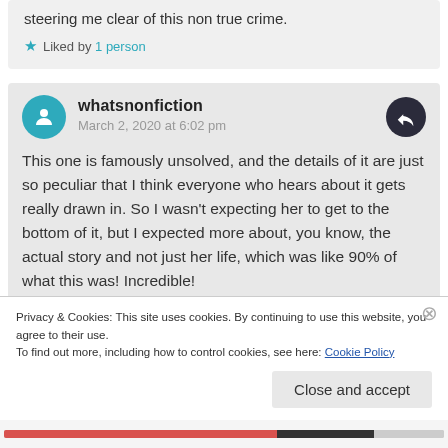steering me clear of this non true crime.
★ Liked by 1 person
whatsnonfiction
March 2, 2020 at 6:02 pm
This one is famously unsolved, and the details of it are just so peculiar that I think everyone who hears about it gets really drawn in. So I wasn't expecting her to get to the bottom of it, but I expected more about, you know, the actual story and not just her life, which was like 90% of what this was! Incredible!
Privacy & Cookies: This site uses cookies. By continuing to use this website, you agree to their use.
To find out more, including how to control cookies, see here: Cookie Policy
Close and accept